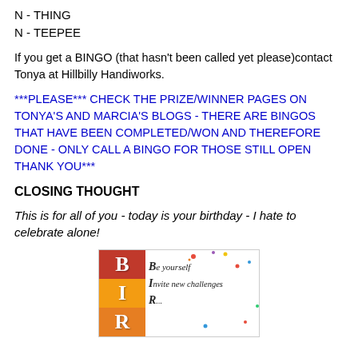N - THING
N - TEEPEE
If you get a BINGO (that hasn't been called yet please)contact Tonya at Hillbilly Handiworks.
***PLEASE*** CHECK THE PRIZE/WINNER PAGES ON TONYA'S AND MARCIA'S BLOGS - THERE ARE BINGOS THAT HAVE BEEN COMPLETED/WON AND THEREFORE DONE - ONLY CALL A BINGO FOR THOSE STILL OPEN THANK YOU***
CLOSING THOUGHT
This is for all of you - today is your birthday - I hate to celebrate alone!
[Figure (illustration): Birthday card image with colored blocks on the left showing letters B, I, R in red, orange, and yellow squares, with cursive text on the right reading 'Be yourself, Invite new challenges, R...']